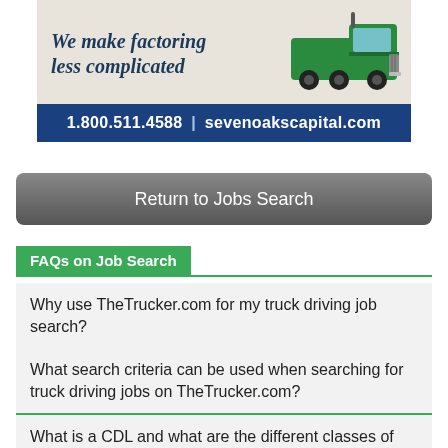[Figure (illustration): Advertisement banner for Seven Oaks Capital with text 'We make factoring less complicated' alongside a green semi-truck illustration, and contact info '1.800.511.4588 | sevenoakscapital.com' on a dark blue background.]
Return to Jobs Search
FAQs on Job Search
Why use TheTrucker.com for my truck driving job search?
What search criteria can be used when searching for truck driving jobs on TheTrucker.com?
What is a CDL and what are the different classes of CDLs?